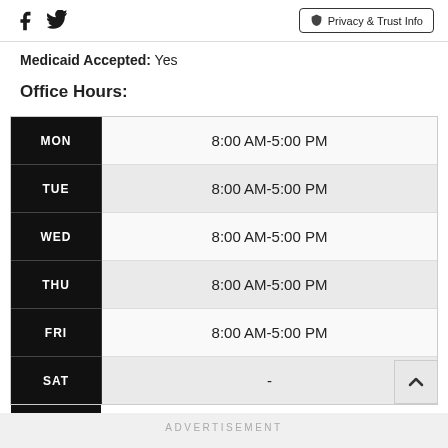Facebook Twitter Privacy & Trust Info
Medicaid Accepted: Yes
Office Hours:
| Day | Hours |
| --- | --- |
| MON | 8:00 AM-5:00 PM |
| TUE | 8:00 AM-5:00 PM |
| WED | 8:00 AM-5:00 PM |
| THU | 8:00 AM-5:00 PM |
| FRI | 8:00 AM-5:00 PM |
| SAT | - |
ADVERTISEMENT